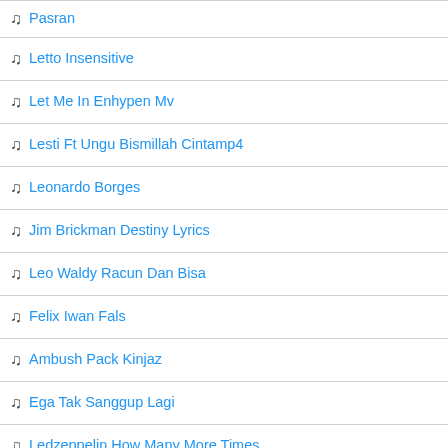Pasran
Letto Insensitive
Let Me In Enhypen Mv
Lesti Ft Ungu Bismillah Cintamp4
Leonardo Borges
Jim Brickman Destiny Lyrics
Leo Waldy Racun Dan Bisa
Felix Iwan Fals
Ambush Pack Kinjaz
Ega Tak Sanggup Lagi
Ledzeppelin How Many More Times
Lebasi Minha Vida NÃ O Pode Me Cuiar Assim
Chef Revolution
Lean On
Dj Dia Terakhir Buatku Melepaskanmu Bukan Mudah Bagiku